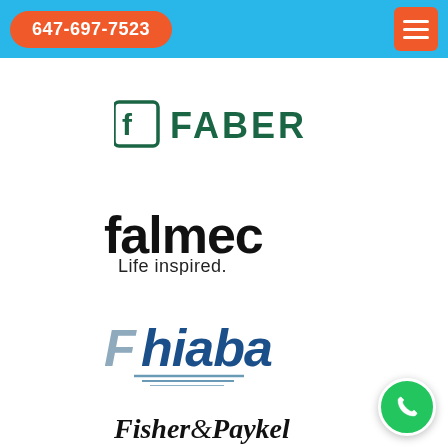647-697-7523
[Figure (logo): Faber brand logo with stylized F icon in dark green and FABER text]
[Figure (logo): Falmec logo in bold black text with tagline 'Life inspired.' below]
[Figure (logo): Fhiaba logo in italic blue and grey text with decorative wave lines below]
[Figure (logo): Fisher & Paykel logo in italic black text, partially visible at bottom]